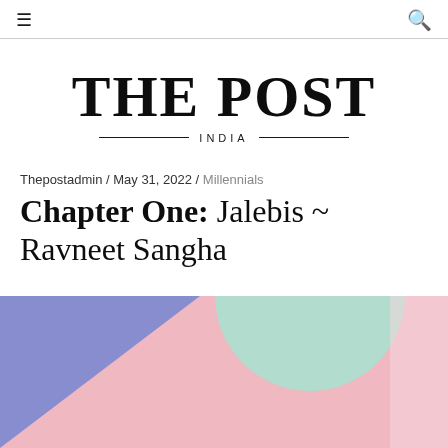≡  🔍
THE POST INDIA
Thepostadmin / May 31, 2022 / Millennials
Chapter One: Jalebis ~ Ravneet Sangha
[Figure (illustration): Decorative abstract illustration with pastel colored shapes: blue triangle bottom-left, large pink rectangle in center, mint/teal circle top-center-right, on white/pink background]